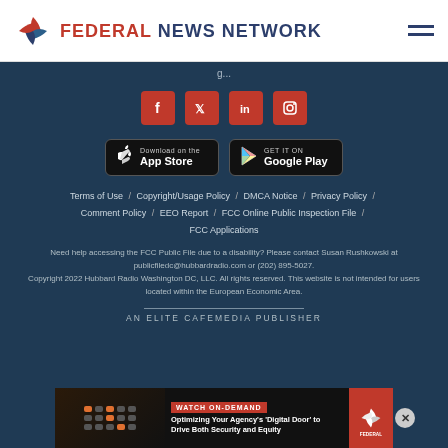[Figure (logo): Federal News Network logo with stylized pinwheel icon and text 'FEDERAL NEWS NETWORK']
Terms of Use / Copyright/Usage Policy / DMCA Notice / Privacy Policy / Comment Policy / EEO Report / FCC Online Public Inspection File / FCC Applications
Need help accessing the FCC Public File due to a disability? Please contact Susan Rushkowski at publicfiledc@hubbardradio.com or (202) 895-5027. Copyright 2022 Hubbard Radio Washington DC, LLC. All rights reserved. This website is not intended for users located within the European Economic Area.
AN ELITE CAFEMEDIA PUBLISHER
[Figure (screenshot): Ad banner: Watch On-Demand - Optimizing Your Agency's 'Digital Door' to Drive Both Security and Equity, Federal News Network]